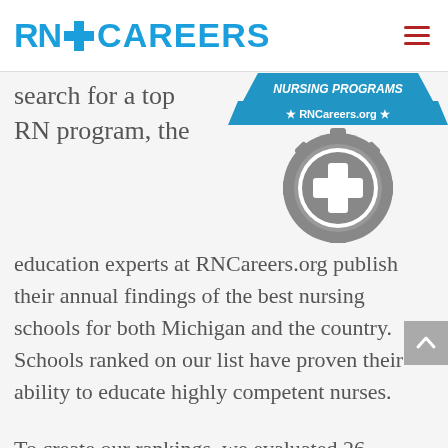RN+ CAREERS
[Figure (logo): RNCareers.org nursing programs badge/seal - gray gear-shaped badge with blue ribbon banner reading NURSING PROGRAMS and RNCareers.org, with a white medical cross in the center]
search for a top RN program, the
education experts at RNCareers.org publish their annual findings of the best nursing schools for both Michigan and the country. Schools ranked on our list have proven their ability to educate highly competent nurses.
To create our rankings, we evaluated 26 ADN degree programs and 18 BSN degree programs